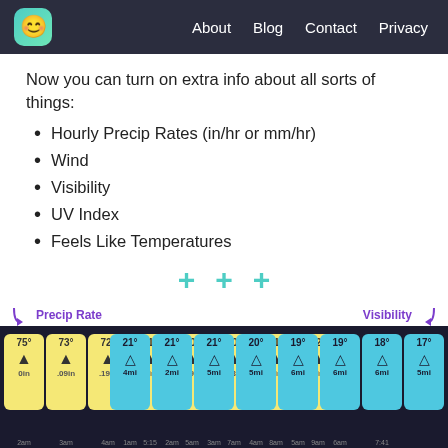About  Blog  Contact  Privacy
Now you can turn on extra info about all sorts of things:
Hourly Precip Rates (in/hr or mm/hr)
Wind
Visibility
UV Index
Feels Like Temperatures
[Figure (screenshot): Three cyan plus signs indicating additional features]
[Figure (screenshot): Weather app screenshot showing hourly forecast cards. Left group shows yellow temperature cards (75°, 73°, 72°, 71°, 70°, 70°, 71°, 72°) with precipitation rates (0in, .09in, .19in, 0in, .09in, .13in, 0in, 0in) labeled 'Precip Rate'. Right group shows cyan visibility cards (21°, 21°, 21°, 20°, 19°, 19°, 18°, 17°) with visibility values (4mi, 2mi, 5mi, 5mi, 6mi, 6mi, 6mi, 5mi) labeled 'Visibility'.]